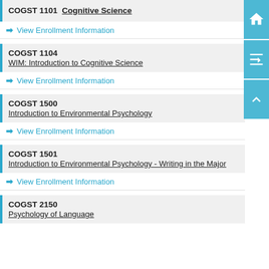COGST 1101 Cognitive Science
View Enrollment Information
COGST 1104
WIM: Introduction to Cognitive Science
View Enrollment Information
COGST 1500
Introduction to Environmental Psychology
View Enrollment Information
COGST 1501
Introduction to Environmental Psychology - Writing in the Major
View Enrollment Information
COGST 2150
Psychology of Language